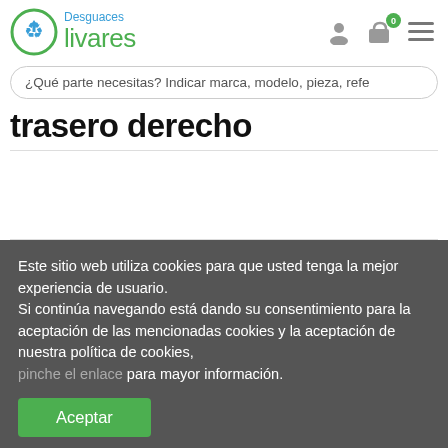[Figure (logo): Desguaces Olivares logo with green recycling circle icon and brand name]
¿Qué parte necesitas? Indicar marca, modelo, pieza, refe
trasero derecho
Este sitio web utiliza cookies para que usted tenga la mejor experiencia de usuario.
Si continúa navegando está dando su consentimiento para la aceptación de las mencionadas cookies y la aceptación de nuestra política de cookies,
pinche el enlace para mayor información.
Aceptar